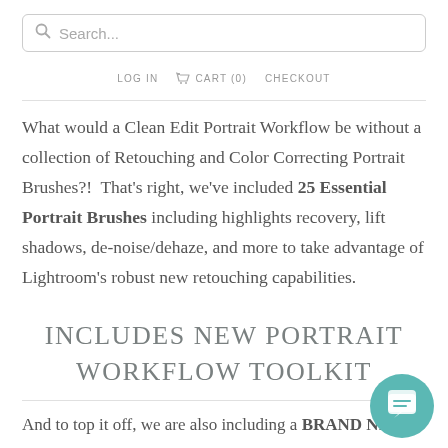Search...
LOG IN   CART (0)   CHECKOUT
What would a Clean Edit Portrait Workflow be without a collection of Retouching and Color Correcting Portrait Brushes?!  That's right, we've included 25 Essential Portrait Brushes including highlights recovery, lift shadows, de-noise/dehaze, and more to take advantage of Lightroom's robust new retouching capabilities.
INCLUDES NEW PORTRAIT WORKFLOW TOOLKIT
And to top it off, we are also including a BRAND NEW Portrait Workflow Toolkit that will...